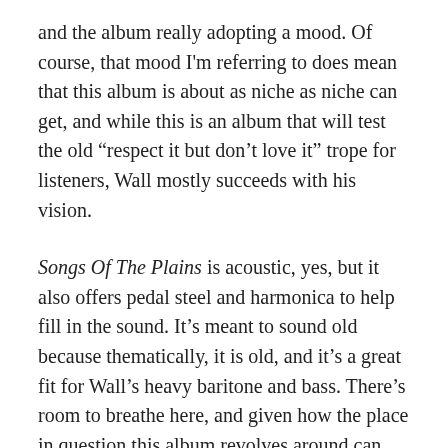and the album really adopting a mood. Of course, that mood I'm referring to does mean that this album is about as niche as niche can get, and while this is an album that will test the old “respect it but don’t love it” trope for listeners, Wall mostly succeeds with his vision.
Songs Of The Plains is acoustic, yes, but it also offers pedal steel and harmonica to help fill in the sound. It’s meant to sound old because thematically, it is old, and it’s a great fit for Wall’s heavy baritone and bass. There’s room to breathe here, and given how the place in question this album revolves around can create that vast feeling, it all comes together nicely.